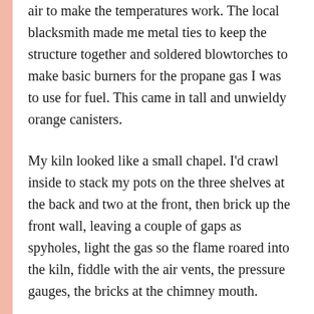air to make the temperatures work. The local blacksmith made me metal ties to keep the structure together and soldered blowtorches to make basic burners for the propane gas I was to use for fuel. This came in tall and unwieldy orange canisters.
My kiln looked like a small chapel. I'd crawl inside to stack my pots on the three shelves at the back and two at the front, then brick up the front wall, leaving a couple of gaps as spyholes, light the gas so the flame roared into the kiln, fiddle with the air vents, the pressure gauges, the bricks at the chimney mouth.